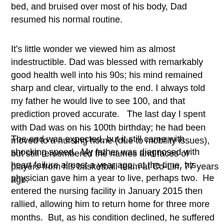bed, and bruised over most of his body, Dad resumed his normal routine.
It's little wonder we viewed him as almost indestructible. Dad was blessed with remarkably good health well into his 90s; his mind remained sharp and clear, virtually to the end. I always told my father he would live to see 100, and that prediction proved accurate.   The last day I spent with Dad was on his 100th birthday; he had been moved to a nursing home (due to mobility issues), but still remembered the names and faces of players from his basketball team at Co-Lin, 77 years ago.
The end was expected, but it still came with shocking speed.  My father was diagnosed with heart failure almost a year ago; at the time, his physician gave him a year to live, perhaps two.  He entered the nursing facility in January 2015 then rallied, allowing him to return home for three more months.  But, as his condition declined, he suffered a series of falls at home.  None resulted in serious injuries, but it affirmed the progression of his disease.  He entered the nursing home for the second (and last) time in June.  His